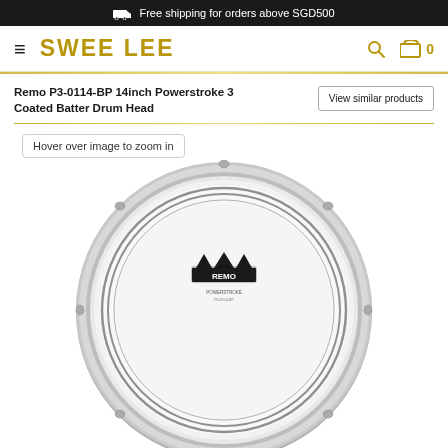Free shipping for orders above SGD500
SWEE LEE
Remo P3-0114-BP 14inch Powerstroke 3 Coated Batter Drum Head
View similar products
Hover over image to zoom in
[Figure (photo): Remo Powerstroke 3 Coated Batter Drum Head - circular drum head with silver/white coated surface, Remo crown logo in center top area, double concentric ring near outer edge, on white background]